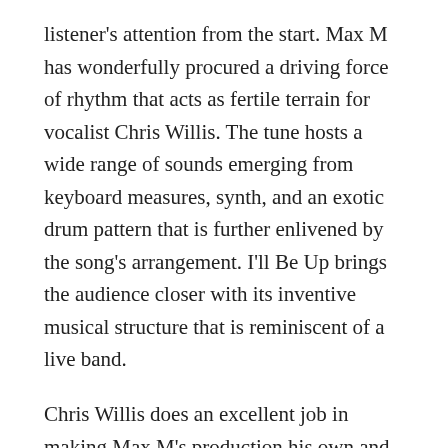listener's attention from the start. Max M has wonderfully procured a driving force of rhythm that acts as fertile terrain for vocalist Chris Willis. The tune hosts a wide range of sounds emerging from keyboard measures, synth, and an exotic drum pattern that is further enlivened by the song's arrangement. I'll Be Up brings the audience closer with its inventive musical structure that is reminiscent of a live band.
Chris Willis does an excellent job in making Max M's production his own and delivers unapologetically as a singer. This collaborative effort arouses a de ja vu of how good music can be. I'll Be Up is an instant favorite.
Bio